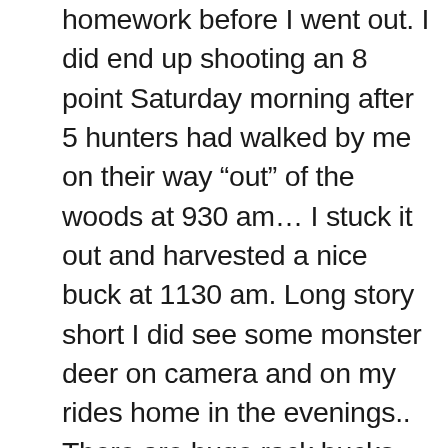homework before I went out. I did end up shooting an 8 point Saturday morning after 5 hunters had walked by me on their way “out” of the woods at 930 am… I stuck it out and harvested a nice buck at 1130 am. Long story short I did see some monster deer on camera and on my rides home in the evenings.. There are huge rack bucks there and with more than 4 days I know I would’ve shot a much bigger buck. Do your home work and go where others aren’t willing to go and you will shoot a nice buck. Ohio is full of nice deer. I never saw a doe the entire time. Everything had antlers. Good luck out there, I wish I had some